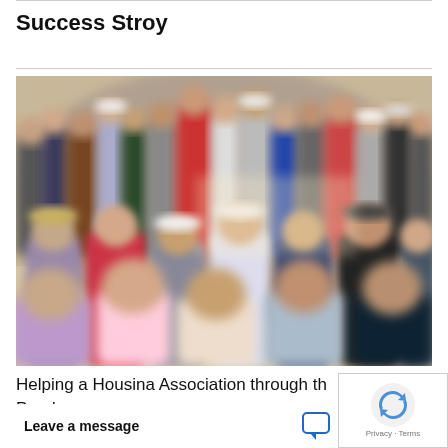Success Stroy
[Figure (photo): A large blurry outdoor crowd of people packed together, photographed from within the crowd. Various clothing colors visible including red, white, green, blue, and black.]
Helping a Housing Association through th Panden